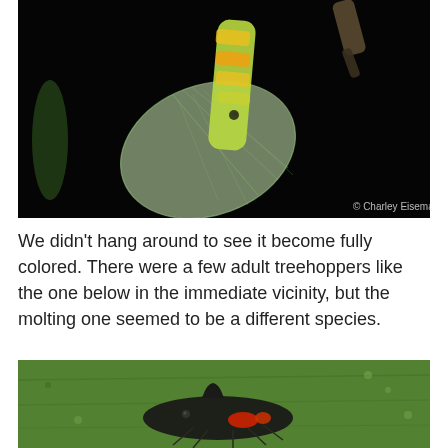[Figure (photo): Close-up macro photograph of a treehopper insect molting, showing translucent pale green/yellow wings and yellow-orange body against a black background. Watermark reads '© Charley Eiseman' in bottom right corner.]
We didn't hang around to see it become fully colored. There were a few adult treehoppers like the one below in the immediate vicinity, but the molting one seemed to be a different species.
[Figure (photo): Close-up macro photograph of an adult treehopper insect on a green leaf surface. The insect appears dark/black with reddish-orange markings, viewed from above on a green background.]